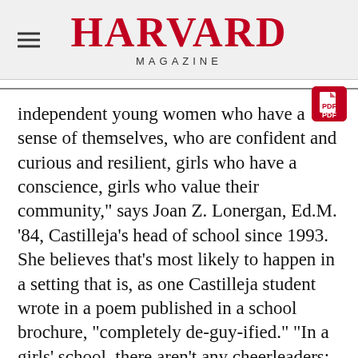HARVARD MAGAZINE
independent young women who have a sense of themselves, who are confident and curious and resilient, girls who have a conscience, girls who value their community," says Joan Z. Lonergan, Ed.M. '84, Castilleja’s head of school since 1993. She believes that's most likely to happen in a setting that is, as one Castilleja student wrote in a poem published in a school brochure, "completely de-guy-ified." "In a girls' school, there aren't any cheerleaders; everybody's an athlete. All the class officers are women," says Lonergan, herself a